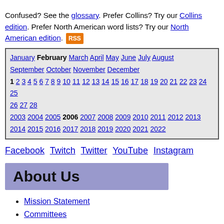Confused? See the glossary. Prefer Collins? Try our Collins edition. Prefer North American word lists? Try our North American edition. RSS
| January February March April May June July August September October November December |
| 1 2 3 4 5 6 7 8 9 10 11 12 13 14 15 16 17 18 19 20 21 22 23 24 25 26 27 28 |
| 2003 2004 2005 2006 2007 2008 2009 2010 2011 2012 2013 2014 2015 2016 2017 2018 2019 2020 2021 2022 |
Facebook Twitch Twitter YouTube Instagram
About Us
Mission Statement
Committees
Advisory Board
Advisory Board Elections
General Inquiry Procedures
Non-Profit Status